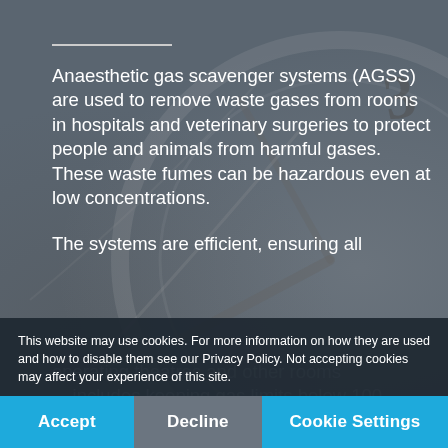Anaesthetic gas scavenger systems (AGSS) are used to remove waste gases from rooms in hospitals and veterinary surgeries to protect people and animals from harmful gases. These waste fumes can be hazardous even at low concentrations.
The systems are efficient, ensuring all operating theatres and other rooms ... includes keeping gas limits below 100 ppm for nitrous oxide, 10 ppm for halogenated volatile anaesthetic ... ppm for halot...
This website may use cookies. For more information on how they are used and how to disable them see our Privacy Policy. Not accepting cookies may affect your experience of this site.